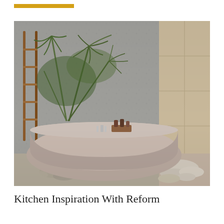[Figure (photo): Interior bathroom photo showing a large freestanding oval bathtub in beige/taupe color centered in frame. Behind the tub is a rough textured grey concrete wall with a tall palm plant leaning to the right. A wooden ladder leans against the left wall. Soap dispensers and a wooden tray sit on the tub rim. To the right is a beige tiled wall and white pebbles on the floor around the tub base.]
Kitchen Inspiration With Reform